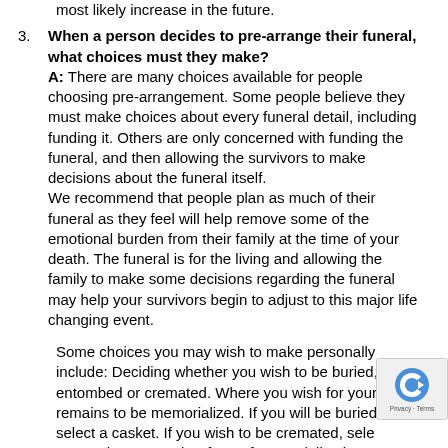most likely increase in the future.
3. When a person decides to pre-arrange their funeral, what choices must they make? A: There are many choices available for people choosing pre-arrangement. Some people believe they must make choices about every funeral detail, including funding it. Others are only concerned with funding the funeral, and then allowing the survivors to make decisions about the funeral itself. We recommend that people plan as much of their funeral as they feel will help remove some of the emotional burden from their family at the time of your death. The funeral is for the living and allowing the family to make some decisions regarding the funeral may help your survivors begin to adjust to this major life changing event.
Some choices you may wish to make personally include: Deciding whether you wish to be buried, entombed or cremated. Where you wish for your remains to be memorialized. If you will be buried, select a casket. If you wish to be cremated, select an urn or choose another form of memorialization. Additionally, funding your pre-arrangement is one way you can help protect survivors from the financial and emotional burden of at-need funeral planning.